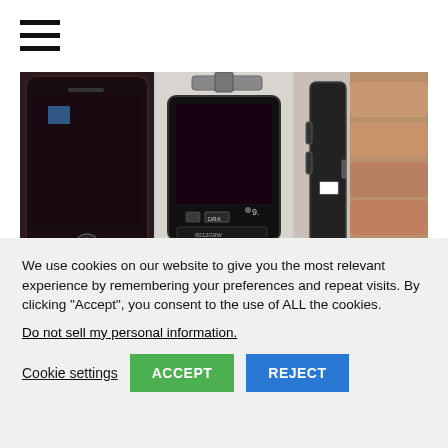[Figure (photo): Hamburger menu icon with three horizontal black lines]
[Figure (photo): Three photos of smartphone (iPhone) parts/components side by side: left shows front face with home button, center shows internal components/flex cables, right shows edge/side of device held in hand]
We use cookies on our website to give you the most relevant experience by remembering your preferences and repeat visits. By clicking “Accept”, you consent to the use of ALL the cookies.
Do not sell my personal information.
Cookie settings
ACCEPT
REJECT